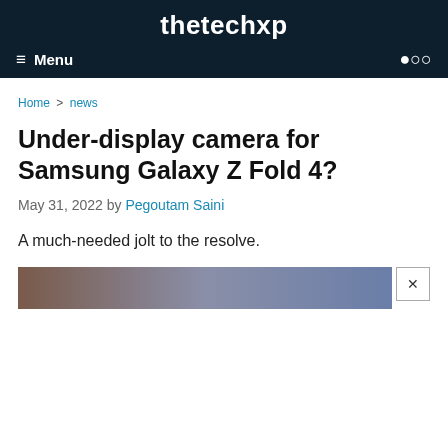thetechxp
Menu
Home > news
Under-display camera for Samsung Galaxy Z Fold 4?
May 31, 2022 by Pegoutam Saini
A much-needed jolt to the resolve.
[Figure (photo): Partial image of Samsung Galaxy Z Fold 4 with a close ad/dismiss button]